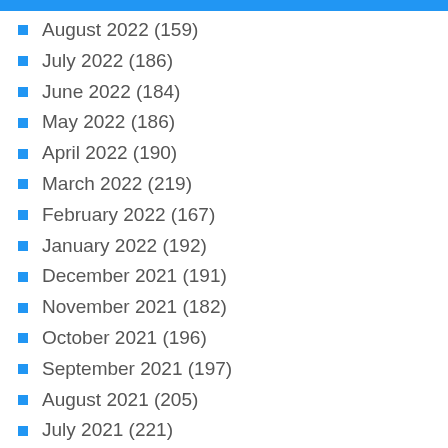August 2022 (159)
July 2022 (186)
June 2022 (184)
May 2022 (186)
April 2022 (190)
March 2022 (219)
February 2022 (167)
January 2022 (192)
December 2021 (191)
November 2021 (182)
October 2021 (196)
September 2021 (197)
August 2021 (205)
July 2021 (221)
June 2021 (211)